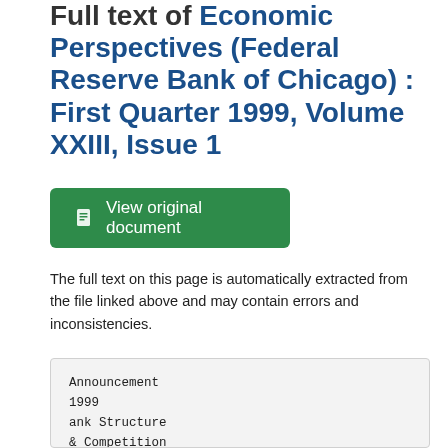Full text of Economic Perspectives (Federal Reserve Bank of Chicago) : First Quarter 1999, Volume XXIII, Issue 1
View original document
The full text on this page is automatically extracted from the file linked above and may contain errors and inconsistencies.
Announcement
1999
ank Structure
& Competition
Conference